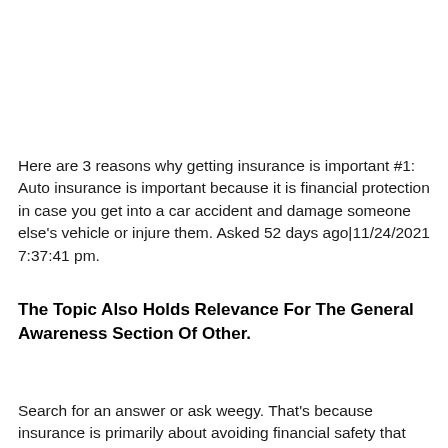Here are 3 reasons why getting insurance is important #1: Auto insurance is important because it is financial protection in case you get into a car accident and damage someone else's vehicle or injure them. Asked 52 days ago|11/24/2021 7:37:41 pm.
The Topic Also Holds Relevance For The General Awareness Section Of Other.
Search for an answer or ask weegy. That's because insurance is primarily about avoiding financial safety that...